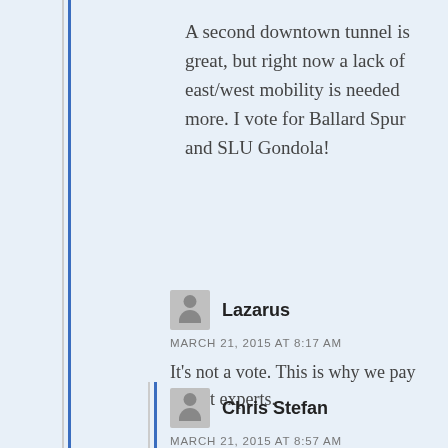A second downtown tunnel is great, but right now a lack of east/west mobility is needed more. I vote for Ballard Spur and SLU Gondola!
Lazarus
MARCH 21, 2015 AT 8:17 AM
It's not a vote. This is why we pay transit experts.
Chris Stefan
MARCH 21, 2015 AT 8:57 AM